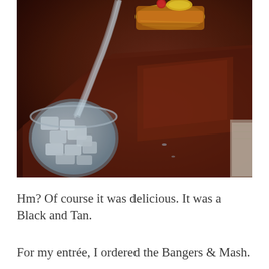[Figure (photo): A close-up photo of drinks on a wooden table. A glass with ice and water is visible on the left, and a glass containing an amber-colored layered drink (Black and Tan beer cocktail) with a yellow garnish is being poured or held at the top center. The background shows a dark reddish-brown wooden table surface.]
Hm? Of course it was delicious. It was a Black and Tan.
For my entrée, I ordered the Bangers & Mash.